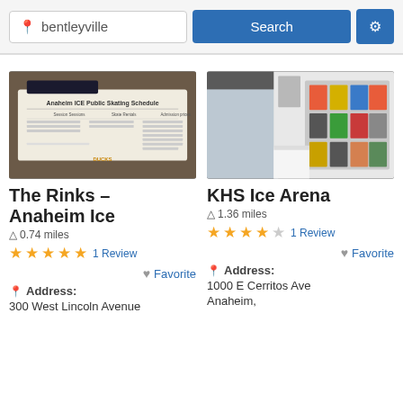[Figure (screenshot): Search bar with location input 'bentleyville', a blue Search button, and a blue settings gear button]
[Figure (photo): Photo of an Anaheim Ice Public Skating Schedule sign on a dark board]
The Rinks – Anaheim Ice
0.74 miles
★★★★★ 1 Review
Favorite
Address:
300 West Lincoln Avenue
[Figure (photo): Photo of indoor lobby area with brochure/flyer display rack on wall]
KHS Ice Arena
1.36 miles
★★★★☆ 1 Review
Favorite
Address:
1000 E Cerritos Ave
Anaheim,